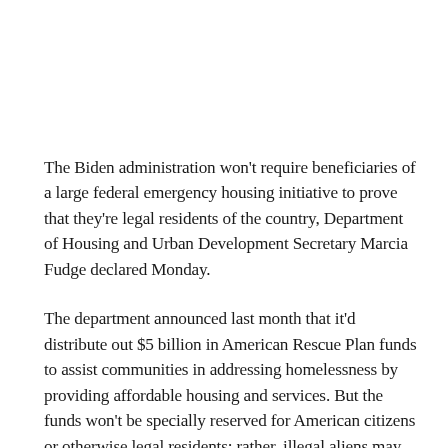The Biden administration won't require beneficiaries of a large federal emergency housing initiative to prove that they're legal residents of the country, Department of Housing and Urban Development Secretary Marcia Fudge declared Monday.
The department announced last month that it'd distribute out $5 billion in American Rescue Plan funds to assist communities in addressing homelessness by providing affordable housing and services. But the funds won't be specially reserved for American citizens or otherwise legal residents; rather, illegal aliens may soon benefit from the money as well.